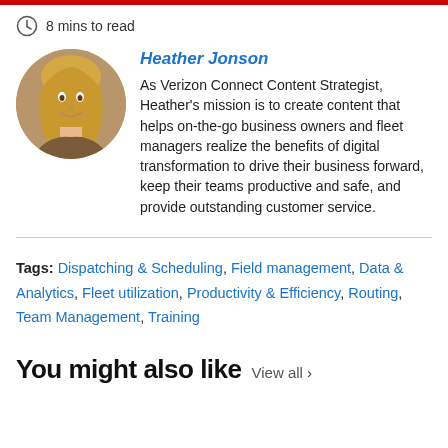8 mins to read
Heather Jonson
As Verizon Connect Content Strategist, Heather's mission is to create content that helps on-the-go business owners and fleet managers realize the benefits of digital transformation to drive their business forward, keep their teams productive and safe, and provide outstanding customer service.
Tags: Dispatching & Scheduling, Field management, Data & Analytics, Fleet utilization, Productivity & Efficiency, Routing, Team Management, Training
You might also like  View all >